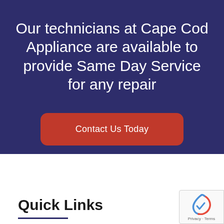Our technicians at Cape Cod Appliance are available to provide Same Day Service for any repair
Contact Us Today
Quick Links